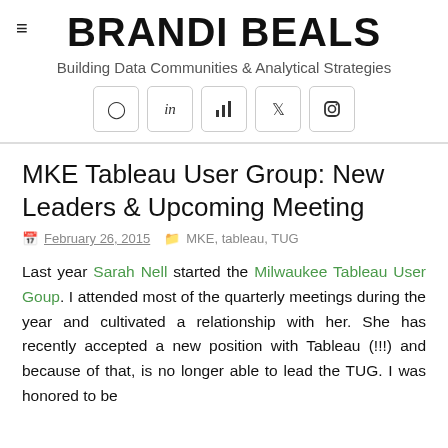≡
BRANDI BEALS
Building Data Communities & Analytical Strategies
[Figure (other): Five social media icon buttons in rounded boxes: GitHub, LinkedIn, bar chart/Tableau, Twitter, Instagram]
MKE Tableau User Group: New Leaders & Upcoming Meeting
February 26, 2015   MKE, tableau, TUG
Last year Sarah Nell started the Milwaukee Tableau User Goup. I attended most of the quarterly meetings during the year and cultivated a relationship with her. She has recently accepted a new position with Tableau (!!!) and because of that, is no longer able to lead the TUG. I was honored to be